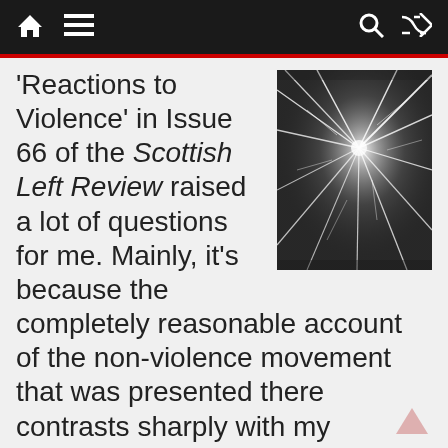Navigation bar with home, menu, search, and shuffle icons
'Reactions to Violence' in Issue 66 of the Scottish Left Review raised a lot of questions for me. Mainly, it's because the completely reasonable account of the non-violence movement that was presented there contrasts sharply with my
[Figure (photo): Black and white photograph of shattered glass with cracks radiating from a central impact point]